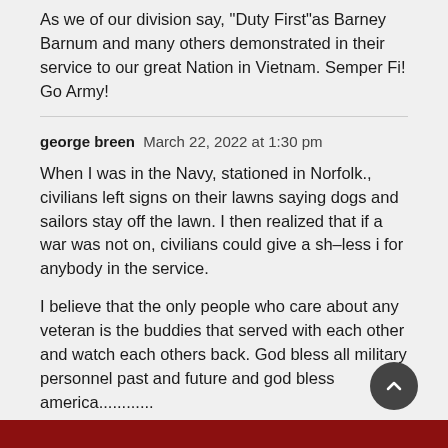As we of our division say, "Duty First"as Barney Barnum and many others demonstrated in their service to our great Nation in Vietnam. Semper Fi! Go Army!
george breen  March 22, 2022 at 1:30 pm
When I was in the Navy, stationed in Norfolk., civilians left signs on their lawns saying dogs and sailors stay off the lawn. I then realized that if a war was not on, civilians could give a sh–less i for anybody in the service.
I believe that the only people who care about any veteran is the buddies that served with each other and watch each others back. God bless all military personnel past and future and god bless america............